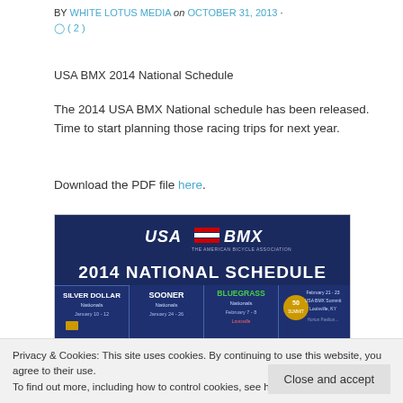BY WHITE LOTUS MEDIA on OCTOBER 31, 2013 · ◯ ( 2 )
USA BMX 2014 National Schedule
The 2014 USA BMX National schedule has been released. Time to start planning those racing trips for next year.
Download the PDF file here.
[Figure (photo): USA BMX 2014 National Schedule promotional image showing the schedule header with Silver Dollar Nationals (January 10-12), Sooner Nationals (January 24-26), Bluegrass Nationals (February 7-8 Louisville), and USA BMX Summit (February 21-23, Louisville KY)]
Privacy & Cookies: This site uses cookies. By continuing to use this website, you agree to their use. To find out more, including how to control cookies, see here: Cookie Policy
Close and accept